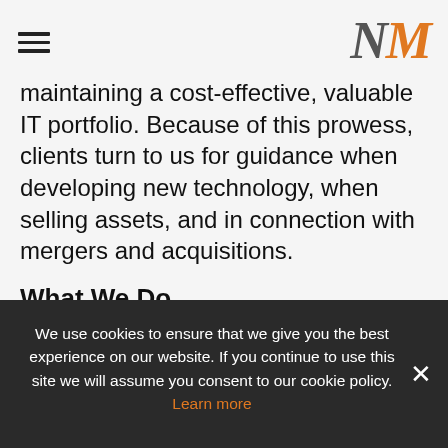NM
maintaining a cost-effective, valuable IT portfolio. Because of this prowess, clients turn to us for guidance when developing new technology, when selling assets, and in connection with mergers and acquisitions.
What We Do
We use cookies to ensure that we give you the best experience on our website. If you continue to use this site we will assume you consent to our cookie policy. Learn more